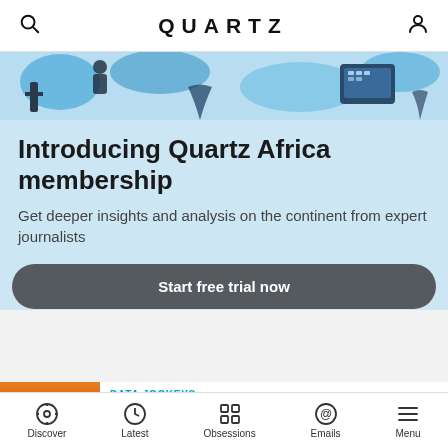QUARTZ
[Figure (illustration): Decorative banner illustration with blue tones showing abstract shapes, people silhouettes, and digital/tech imagery]
Introducing Quartz Africa membership
Get deeper insights and analysis on the continent from expert journalists
Start free trial now
DATA JOCKEYS
NASA's risky new plan to launch its Moon rocket
Discover  Latest  Obsessions  Emails  Menu